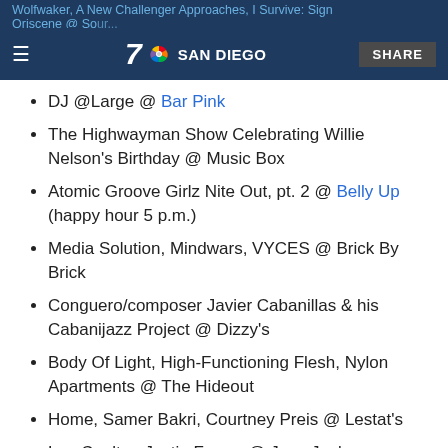7 San Diego NBC — SHARE
DJ @Large @ Bar Pink
The Highwayman Show Celebrating Willie Nelson's Birthday @ Music Box
Atomic Groove Girlz Nite Out, pt. 2 @ Belly Up (happy hour 5 p.m.)
Media Solution, Mindwars, VYCES @ Brick By Brick
Conguero/composer Javier Cabanillas & his Cabanijazz Project @ Dizzy's
Body Of Light, High-Functioning Flesh, Nylon Apartments @ The Hideout
Home, Samer Bakri, Courtney Preis @ Lestat's
Lee Coulter, Justin Farren @ Java Joe's